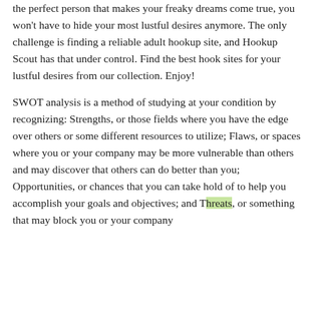the perfect person that makes your freaky dreams come true, you won't have to hide your most lustful desires anymore. The only challenge is finding a reliable adult hookup site, and Hookup Scout has that under control. Find the best hook sites for your lustful desires from our collection. Enjoy!
SWOT analysis is a method of studying at your condition by recognizing: Strengths, or those fields where you have the edge over others or some different resources to utilize; Flaws, or spaces where you or your company may be more vulnerable than others and may discover that others can do better than you; Opportunities, or chances that you can take hold of to help you accomplish your goals and objectives; and Threats, or something that may block you or your company